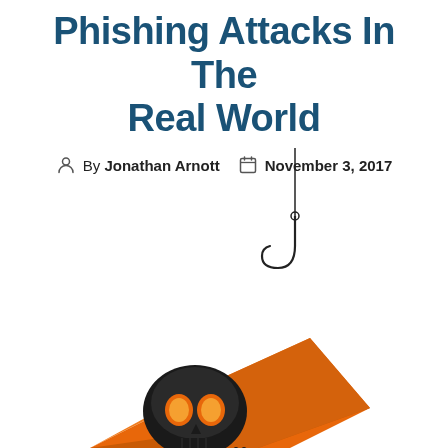Phishing Attacks In The Real World
By Jonathan Arnott   November 3, 2017
[Figure (illustration): An orange envelope tilted diagonally with a skull graphic on its face, hanging from a fishing hook with a line extending upward — a visual metaphor for phishing attacks.]